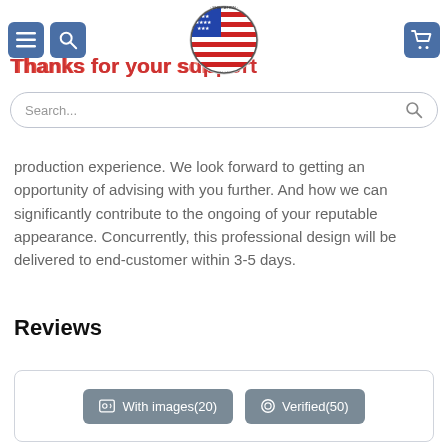Thanks for your support
[Figure (logo): Circular logo with American flag design and text around border]
...y p... ...g production experience. We look forward to getting an opportunity of advising with you further. And how we can significantly contribute to the ongoing of your reputable appearance. Concurrently, this professional design will be delivered to end-customer within 3-5 days.
Reviews
[Figure (screenshot): Review filter buttons: 'With images(20)' and 'Verified(50)']